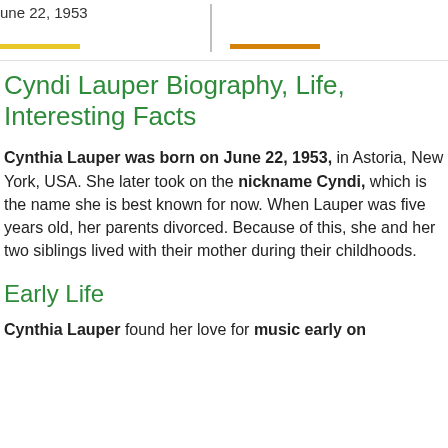June 22, 1953
Cyndi Lauper Biography, Life, Interesting Facts
Cynthia Lauper was born on June 22, 1953, in Astoria, New York, USA. She later took on the nickname Cyndi, which is the name she is best known for now. When Lauper was five years old, her parents divorced. Because of this, she and her two siblings lived with their mother during their childhoods.
Early Life
Cynthia Lauper found her love for music early on